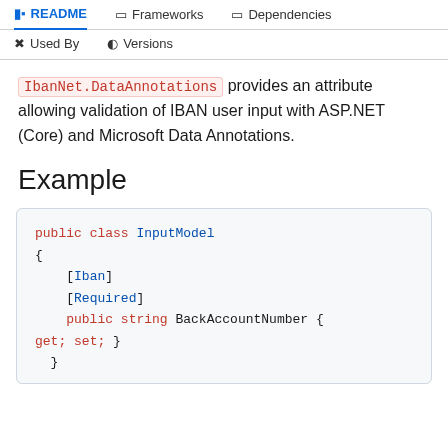README | Frameworks | Dependencies | Used By | Versions
IbanNet.DataAnnotations provides an attribute allowing validation of IBAN user input with ASP.NET (Core) and Microsoft Data Annotations.
Example
public class InputModel
{
    [Iban]
    [Required]
    public string BackAccountNumber { get; set; }
}